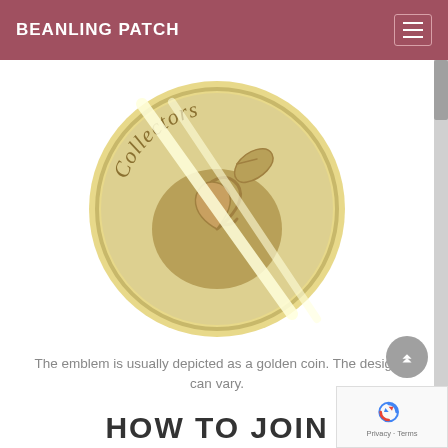BEANLING PATCH
[Figure (illustration): A golden coin emblem with the word 'Collectors' arched at the top, featuring a stylized snail/bean swirl design with a leaf element. A diagonal line crosses the coin, suggesting a watermark or crossed-out symbol. The coin is depicted in golden/tan tones.]
The emblem is usually depicted as a golden coin. The design can vary.
HOW TO JOIN